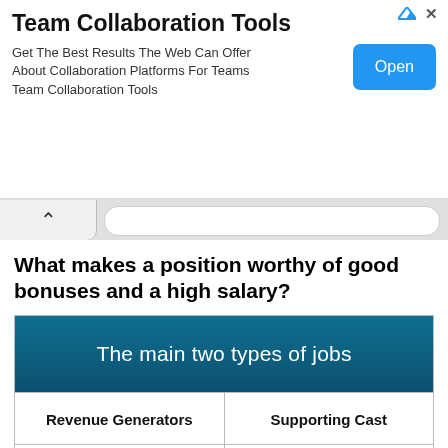[Figure (screenshot): Advertisement banner for Team Collaboration Tools with an Open button]
What makes a position worthy of good bonuses and a high salary?
| The main two types of jobs |
| --- |
| Revenue Generators | Supporting Cast |
| Employees that are directly involved in | Employees that support and facilitate |